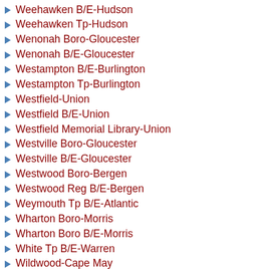Weehawken B/E-Hudson
Weehawken Tp-Hudson
Wenonah Boro-Gloucester
Wenonah B/E-Gloucester
Westampton B/E-Burlington
Westampton Tp-Burlington
Westfield-Union
Westfield B/E-Union
Westfield Memorial Library-Union
Westville Boro-Gloucester
Westville B/E-Gloucester
Westwood Boro-Bergen
Westwood Reg B/E-Bergen
Weymouth Tp B/E-Atlantic
Wharton Boro-Morris
Wharton Boro B/E-Morris
White Tp B/E-Warren
Wildwood-Cape May
Wildwood B/E-Cape May
Wildwood City-Cape May
Wildwood Crest Boro-Cape May